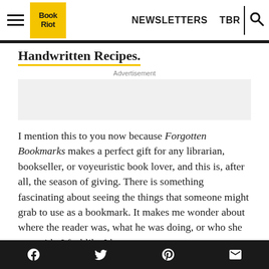Book Riot — NEWSLETTERS  TBR
Handwritten Recipes.
Advertisement
I mention this to you now because Forgotten Bookmarks makes a perfect gift for any librarian, bookseller, or voyeuristic book lover, and this is, after all, the season of giving. There is something fascinating about seeing the things that someone might grab to use as a bookmark. It makes me wonder about where the reader was, what he was doing, or who she was with. I feel like I know a
Facebook  Twitter  Pinterest  Email